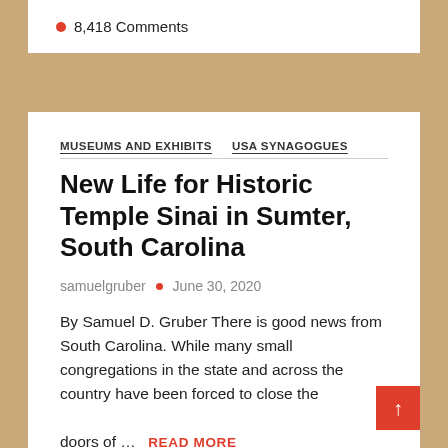8,418 Comments
MUSEUMS AND EXHIBITS   USA SYNAGOGUES
New Life for Historic Temple Sinai in Sumter, South Carolina
samuelgruber • June 30, 2020
By Samuel D. Gruber There is good news from South Carolina. While many small congregations in the state and across the country have been forced to close the doors of ...
READ MORE
8,343 Comments